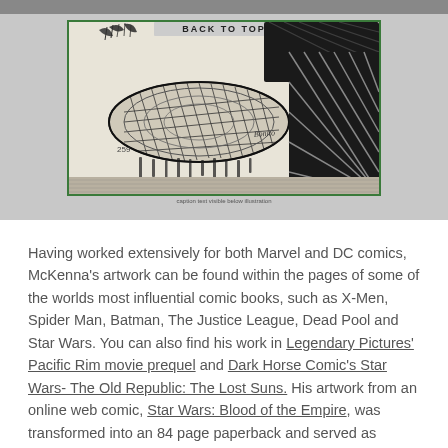[Figure (illustration): Black and white comic book illustration showing a large figure with detailed cross-hatching, foliage in background, with 'BACK TO TOP' text visible at top. Green border around image.]
caption text below illustration (partially legible small print)
Having worked extensively for both Marvel and DC comics, McKenna's artwork can be found within the pages of some of the worlds most influential comic books, such as X-Men, Spider Man, Batman, The Justice League, Dead Pool and Star Wars. You can also find his work in Legendary Pictures' Pacific Rim movie prequel and Dark Horse Comic's Star Wars- The Old Republic: The Lost Suns. His artwork from an online web comic, Star Wars: Blood of the Empire, was transformed into an 84 page paperback and served as inspiration for The Old Republic video